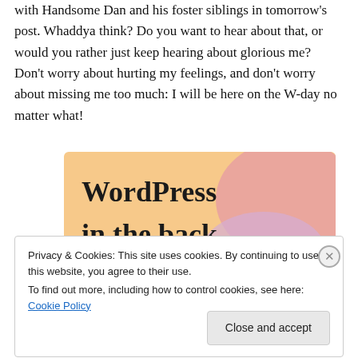with Handsome Dan and his foster siblings in tomorrow's post. Whaddya think? Do you want to hear about that, or would you rather just keep hearing about glorious me? Don't worry about hurting my feelings, and don't worry about missing me too much: I will be here on the W-day no matter what!
[Figure (illustration): Advertisement banner with orange/peach and pink background with text 'WordPress in the back.' in bold serif font]
Privacy & Cookies: This site uses cookies. By continuing to use this website, you agree to their use.
To find out more, including how to control cookies, see here: Cookie Policy